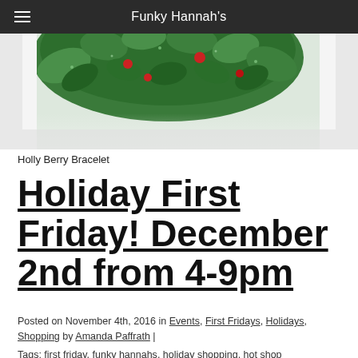Funky Hannah's
[Figure (photo): Close-up photo of a Holly Berry Bracelet made of green glass beads with red accents, bottom portion visible against white background]
Holly Berry Bracelet
Holiday First Friday! December 2nd from 4-9pm
Posted on November 4th, 2016 in Events, First Fridays, Holidays, Shopping by Amanda Paffrath | Tags: first friday, funky hannahs, holiday shopping, hot shop